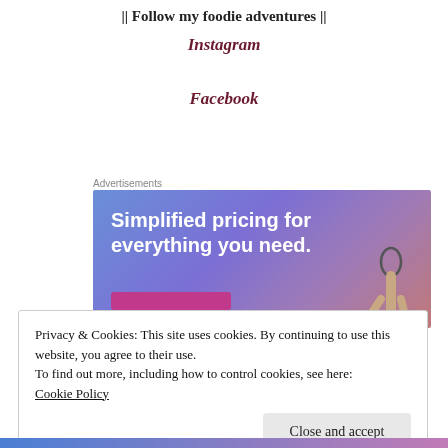|| Follow my foodie adventures ||
Instagram
Facebook
Advertisements
[Figure (photo): Advertisement banner with blue-purple gradient background and text 'Simplified pricing for everything you need.' with a pink button and a hand holding glasses.]
Privacy & Cookies: This site uses cookies. By continuing to use this website, you agree to their use.
To find out more, including how to control cookies, see here:
Cookie Policy
Close and accept